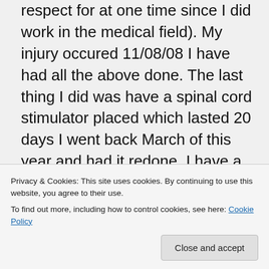respect for at one time since I did work in the medical field). My injury occured 11/08/08 I have had all the above done. The last thing I did was have a spinal cord stimulator placed which lasted 20 days I went back March of this year and had it redone. I have a good pain management Dr. But, the spinal cord stimulator does nothing for me. Noone understands what were going through. I feel like you do and have actually told the Dr to amputate my
Privacy & Cookies: This site uses cookies. By continuing to use this website, you agree to their use.
To find out more, including how to control cookies, see here: Cookie Policy